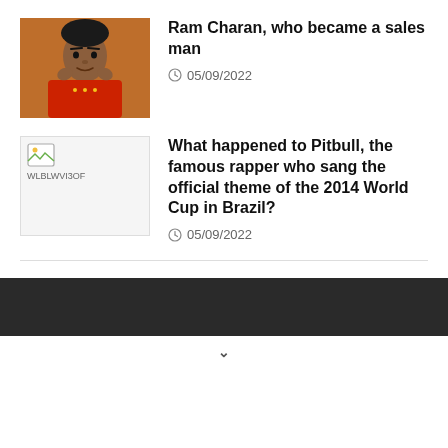[Figure (photo): Photo of Ram Charan, a man in a red outfit]
Ram Charan, who became a sales man
05/09/2022
[Figure (photo): Broken image placeholder with filename WLBLWVI3OF]
What happened to Pitbull, the famous rapper who sang the official theme of the 2014 World Cup in Brazil?
05/09/2022